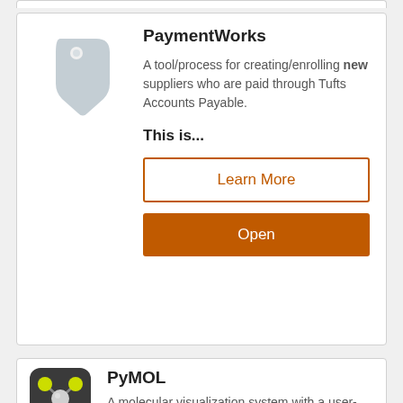[Figure (illustration): Price tag icon in light blue-gray color]
PaymentWorks
A tool/process for creating/enrolling new suppliers who are paid through Tufts Accounts Payable.
This is...
Learn More
Open
[Figure (logo): PyMOL application icon — dark rounded square with molecular structure graphic showing gray and yellow spheres connected by sticks]
PyMOL
A molecular visualization system with a user-friendly